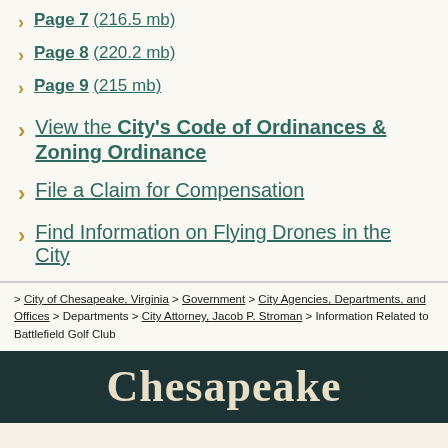Page 7 (216.5 mb)
Page 8 (220.2 mb)
Page 9 (215 mb)
View the City's Code of Ordinances & Zoning Ordinance
File a Claim for Compensation
Find Information on Flying Drones in the City
> City of Chesapeake, Virginia > Government > City Agencies, Departments, and Offices > Departments > City Attorney, Jacob P. Stroman > Information Related to Battlefield Golf Club
Chesapeake